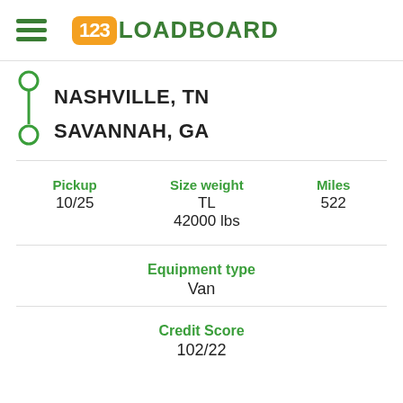123LOADBOARD
NASHVILLE, TN
SAVANNAH, GA
| Pickup | Size weight | Miles |
| --- | --- | --- |
| 10/25 | TL
42000 lbs | 522 |
Equipment type
Van
Credit Score
102/22